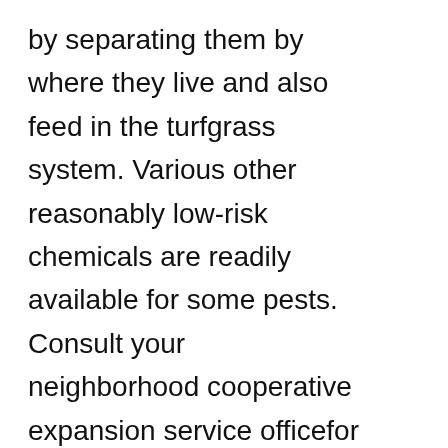by separating them by where they live and also feed in the turfgrass system. Various other reasonably low-risk chemicals are readily available for some pests. Consult your neighborhood cooperative expansion service officefor referrals appropriate for your area.

When you do roll up your sleeves to eliminate relentless insects, IPM suggests the old-school techniques as your very first tools of choice. Soon